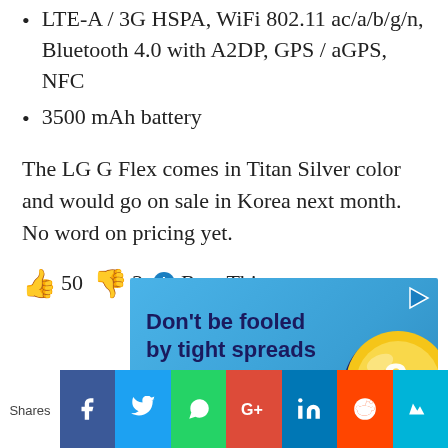LTE-A / 3G HSPA, WiFi 802.11 ac/a/b/g/n, Bluetooth 4.0 with A2DP, GPS / aGPS, NFC
3500 mAh battery
The LG G Flex comes in Titan Silver color and would go on sale in Korea next month. No word on pricing yet.
👍 50 👎 3 ℹ Rate This
[Figure (infographic): Advertisement banner: Don't be fooled by tight spreads. Trade for less with no added fees. Shows a Litecoin coin graphic on blue background.]
Shares — social share bar with Facebook, Twitter, WhatsApp, Google+, LinkedIn, Reddit, and one more icon